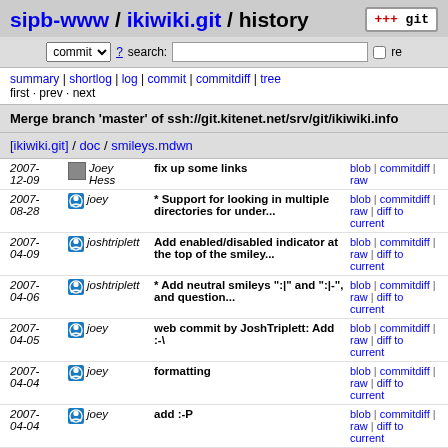sipb-www / ikiwiki.git / history
commit ? search: re
summary | shortlog | log | commit | commitdiff | tree
first · prev · next
Merge branch 'master' of ssh://git.kitenet.net/srv/git/ikiwiki.info
[ikiwiki.git] / doc / smileys.mdwn
| Date | Author | Message | Links |
| --- | --- | --- | --- |
| 2007-12-09 | Joey Hess | fix up some links | blob | commitdiff | raw |
| 2007-08-28 | joey | * Support for looking in multiple directories for under... | blob | commitdiff | raw | diff to current |
| 2007-04-09 | joshtriplett | Add enabled/disabled indicator at the top of the smiley... | blob | commitdiff | raw | diff to current |
| 2007-04-06 | joshtriplett | * Add neutral smileys ":|" and ":|-", and question... | blob | commitdiff | raw | diff to current |
| 2007-04-05 | joey | web commit by JoshTriplett: Add :-\ | blob | commitdiff | raw | diff to current |
| 2007-04-04 | joey | formatting | blob | commitdiff | raw | diff to current |
| 2007-04-04 | joey | add :-P | blob | commitdiff | raw | diff to current |
| 2007- | joey | * Make the basewiki be full of | blob | commitdiff | raw | diff to |